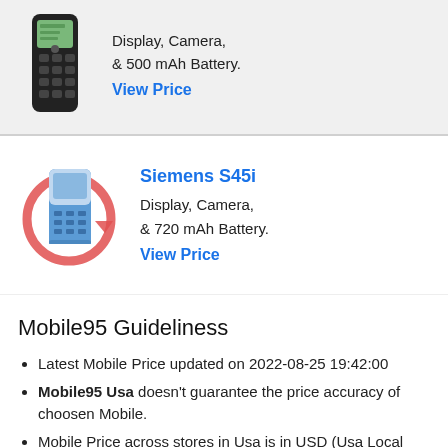[Figure (photo): Old mobile phone (dark/black) shown vertically]
Display, Camera, & 500 mAh Battery.
View Price
[Figure (photo): Siemens S45i mobile phone with red circular arrow icon]
Siemens S45i
Display, Camera, & 720 mAh Battery.
View Price
Mobile95 Guideliness
Latest Mobile Price updated on 2022-08-25 19:42:00
Mobile95 Usa doesn't guarantee the price accuracy of choosen Mobile.
Mobile Price across stores in Usa is in USD (Usa Local Currency).
Mobile95 U... is not responsible for the Mobile ...